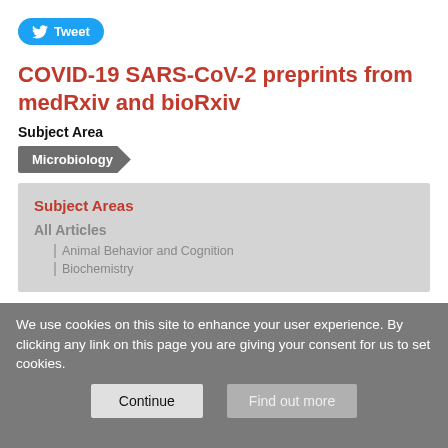[Figure (other): Twitter Tweet button with bird icon]
COVID-19 SARS-CoV-2 preprints from medRxiv and bioRxiv
Subject Area
Microbiology
Subject Areas
All Articles
Animal Behavior and Cognition
Biochemistry
We use cookies on this site to enhance your user experience. By clicking any link on this page you are giving your consent for us to set cookies.
Continue   Find out more